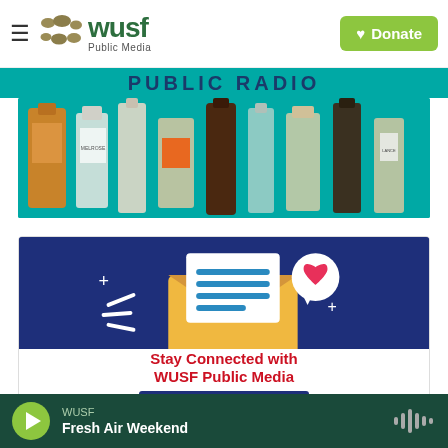WUSF Public Media — Donate
[Figure (screenshot): PUBLIC RADIO banner in teal with bold dark blue text]
[Figure (photo): Various wine/spirit bottles laid out on a teal background]
[Figure (illustration): Newsletter signup promo card with dark blue top section showing an envelope with letter and heart speech bubble, white bottom section with red text 'Stay Connected with WUSF Public Media' and a dark blue 'SUBSCRIBE NOW' button]
WUSF — Fresh Air Weekend (audio player bar with play button and waveform icon)